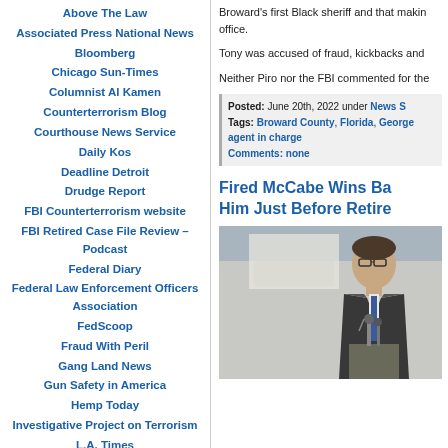Above The Law
Associated Press National News
Bloomberg
Chicago Sun-Times
Columnist Al Kamen
Counterterrorism Blog
Courthouse News Service
Daily Kos
Deadline Detroit
Drudge Report
FBI Counterterrorism website
FBI Retired Case File Review – Podcast
Federal Diary
Federal Law Enforcement Officers Association
FedScoop
Fraud With Peril
Gang Land News
Gun Safety in America
Hemp Today
Investigative Project on Terrorism
L.A. Times
Law Enforcement Online (LEO)
Broward's first Black sheriff and that making him the office.
Tony was accused of fraud, kickbacks and
Neither Piro nor the FBI commented for the
Posted: June 20th, 2022 under News S Tags: Broward County, Florida, George agent in charge Comments: none
Fired McCabe Wins Ba Him Just Before Retire
[Figure (photo): Man in suit speaking at a podium microphone outdoors, wearing glasses and a blue tie.]